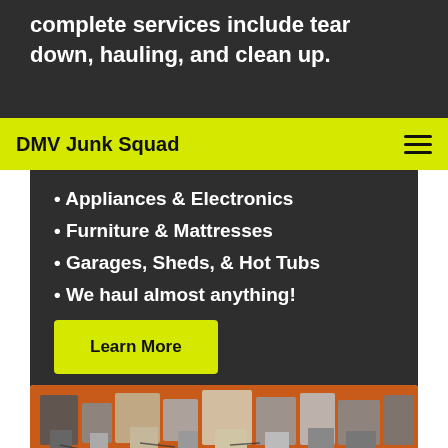complete services include tear down, hauling, and clean up.
DMV Junk Squad
• Appliances & Electronics
• Furniture & Mattresses
• Garages, Sheds, & Hot Tubs
• We haul almost anything!
Learn More
[Figure (photo): A collection of old electronics and junk items piled together including computers and other devices, seen in an orange dumpster or bin.]